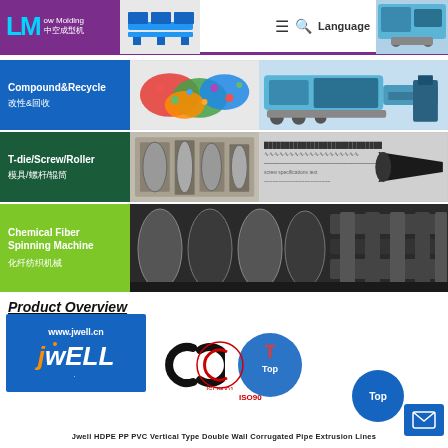UM Blow Molding 中空成型机 | Navigation | Language
[Figure (screenshot): Compound&Recycle 改性&回收 category tile with plastic pellets and extruder machine images]
[Figure (screenshot): T-die/Screw/Roller 模具/螺杆/辊筒 category tile with printing machine and screw images]
[Figure (screenshot): Chemical Fiber Spinning Machine 化纤纺织机械 category tile with industrial machinery image]
Product Overview
[Figure (logo): Jwell logo - www.jwell.cn brand box in blue]
[Figure (logo): CE certification mark and ISO9001 TUV certification logos]
Jwell HDPE PP PVC Vertical Type Double Wall Corrugated Pipe Extrusion Lines